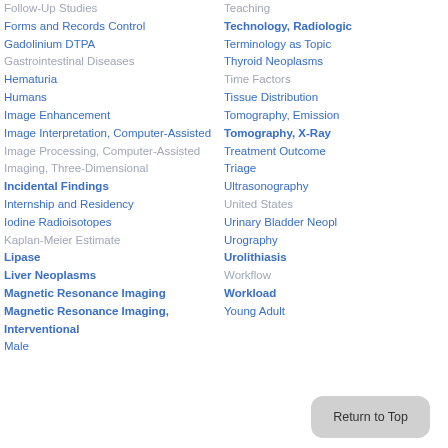Follow-Up Studies
Forms and Records Control
Gadolinium DTPA
Gastrointestinal Diseases
Hematuria
Humans
Image Enhancement
Image Interpretation, Computer-Assisted
Image Processing, Computer-Assisted
Imaging, Three-Dimensional
Incidental Findings
Internship and Residency
Iodine Radioisotopes
Kaplan-Meier Estimate
Lipase
Liver Neoplasms
Magnetic Resonance Imaging
Magnetic Resonance Imaging, Interventional
Male
Teaching
Technology, Radiologic
Terminology as Topic
Thyroid Neoplasms
Time Factors
Tissue Distribution
Tomography, Emission
Tomography, X-Ray
Treatment Outcome
Triage
Ultrasonography
United States
Urinary Bladder Neoplasms
Urography
Urolithiasis
Workflow
Workload
Young Adult
Return to Top